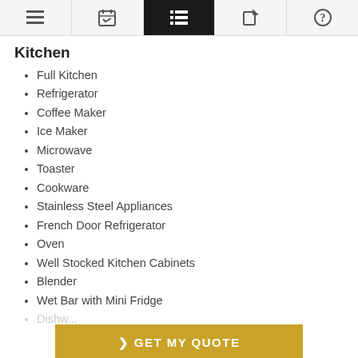Navigation bar with icons: menu, calendar, list (active), edit, help
Kitchen
Full Kitchen
Refrigerator
Coffee Maker
Ice Maker
Microwave
Toaster
Cookware
Stainless Steel Appliances
French Door Refrigerator
Oven
Well Stocked Kitchen Cabinets
Blender
Wet Bar with Mini Fridge
Dishw...
> GET MY QUOTE